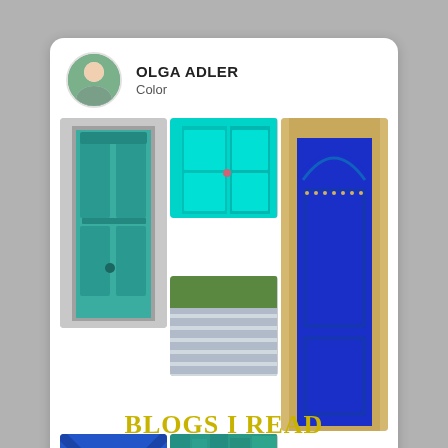[Figure (screenshot): Pinterest widget card showing OLGA ADLER's 'Color' board with a grid of blue and teal door photos, and a Follow On Pinterest button]
BLOGS I READ